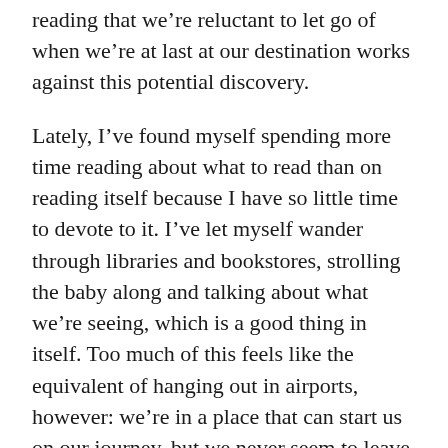reading that we're reluctant to let go of when we're at last at our destination works against this potential discovery.
Lately, I've found myself spending more time reading about what to read than on reading itself because I have so little time to devote to it. I've let myself wander through libraries and bookstores, strolling the baby along and talking about what we're seeing, which is a good thing in itself. Too much of this feels like the equivalent of hanging out in airports, however: we're in a place that can start us on our journey, but we never seem to leave.
The perils here of overplanning what I'm reading are this: I don't read as much as I'd like, I may